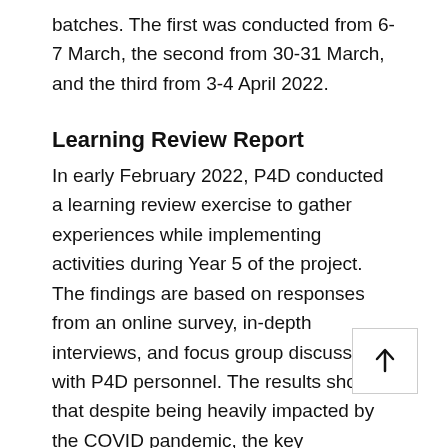batches. The first was conducted from 6-7 March, the second from 30-31 March, and the third from 3-4 April 2022.
Learning Review Report
In early February 2022, P4D conducted a learning review exercise to gather experiences while implementing activities during Year 5 of the project. The findings are based on responses from an online survey, in-depth interviews, and focus group discussions with P4D personnel. The results show that despite being heavily impacted by the COVID pandemic, the key partnerships of the project-governmental-donor remain strong and trust between government and CSOs at the local and district level has